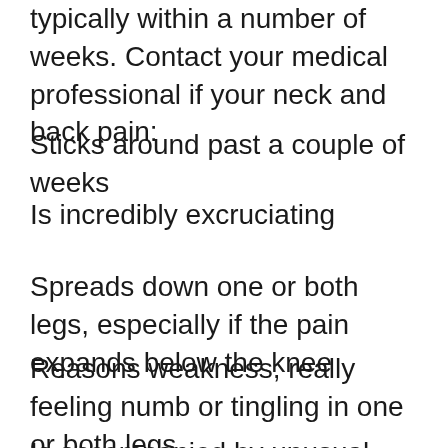typically within a number of weeks. Contact your medical professional if your neck and back pain:
Sticks around past a couple of weeks
Is incredibly excruciating
Spreads down one or both legs, especially if the pain expands below the knee
Reasons weakness, really feeling numb or tingling in one or both legs
Is accompanied by unusual weight management
In unusual instances, pain in the back can